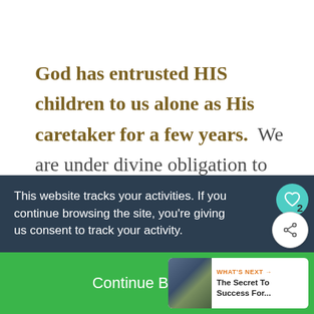God has entrusted HIS children to us alone as His caretaker for a few years. We are under divine obligation to train our children up in the way they should go.
This website tracks your activities. If you continue browsing the site, you're giving us consent to track your activity.
Continue Browsing